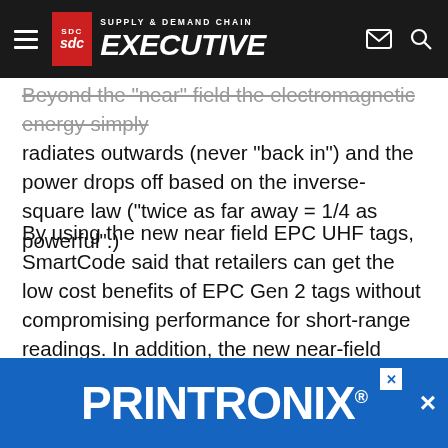Supply & Demand Chain Executive
Beyond the "near" field the electromagnetic energy simply radiates outwards (never "back in") and the power drops off based on the inverse-square law ("twice as far away = 1/4 as powerful".)
By using the new near field EPC UHF tags, SmartCode said that retailers can get the low cost benefits of EPC Gen 2 tags without compromising performance for short-range readings. In addition, the new near-field antenna design allows a better reading of liquids and metals in the product or package. When comparing with the HF solutions available at 13.56Mhz, the EPC Gen 2 UHF near-field tags provide a better re... with 13.56 M... ...s in a
[Figure (other): PRINTRONIX advertisement banner overlay at bottom of page]